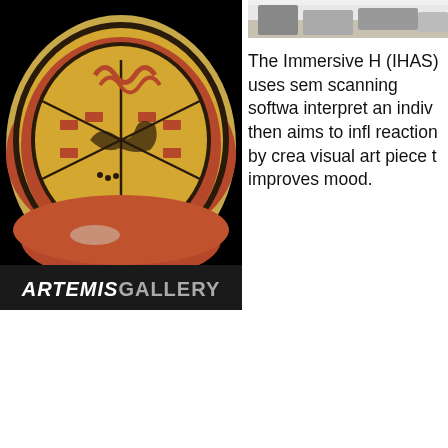[Figure (photo): Photo of an ancient decorated ceramic plate/bowl with orange, red, and dark painted geometric and figurative patterns, with 'ARTEMIS GALLERY' text on a black banner at the bottom]
[Figure (photo): Partial photo showing a desk/office scene, cropped at top right]
The Immersive H (IHAS) uses sem scanning softwa interpret an indiv then aims to infl reaction by crea visual art piece t improves mood.